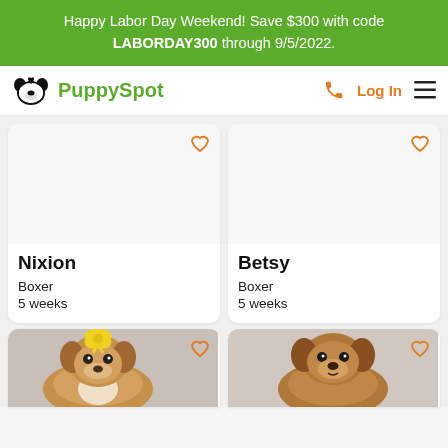Happy Labor Day Weekend! Save $300 with code LABORDAY300 through 9/5/2022.
[Figure (screenshot): PuppySpot navigation logo with dog icon]
Log In
Nixion
Boxer
5 weeks
Betsy
Boxer
5 weeks
[Figure (photo): Puppy with yellow bow]
[Figure (photo): Brown puppy]